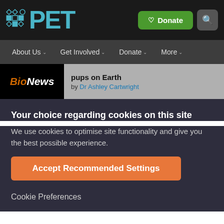PET — Donate — Search
About Us | Get Involved | Donate | More
BioNews — pups on Earth — by Dr Ashley Cartwright
Your choice regarding cookies on this site
We use cookies to optimise site functionality and give you the best possible experience.
Accept Recommended Settings
Cookie Preferences